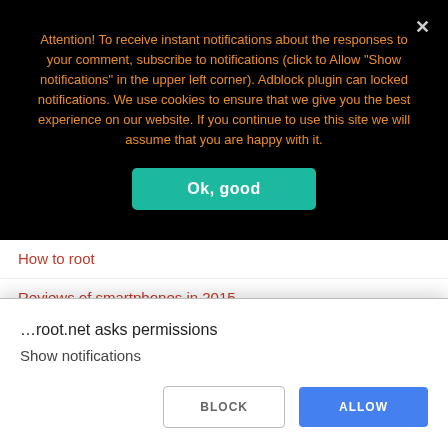[Figure (screenshot): Black notification/cookie consent overlay banner with orange text and teal 'Ok, good' button, overlaid on a website. Behind the overlay, website navigation links are visible (September 2015 root rights, How to root, Reviews of smartphones in 2015, September 2015 root rights, New Releases). A browser permission dialog at the bottom reads '...root.net asks permissions / Show notifications' with BLOCK and ALLOW buttons.]